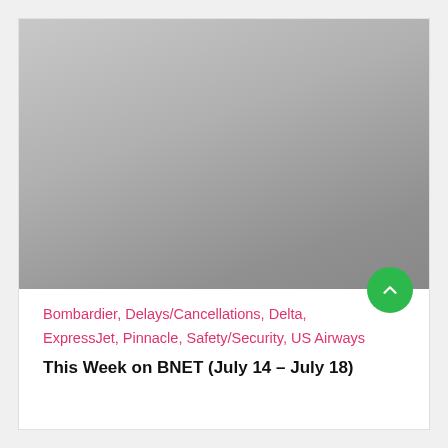[Figure (photo): Gray gradient placeholder image occupying the top portion of a card]
Bombardier, Delays/Cancellations, Delta, ExpressJet, Pinnacle, Safety/Security, US Airways
This Week on BNET (July 14 – July 18)